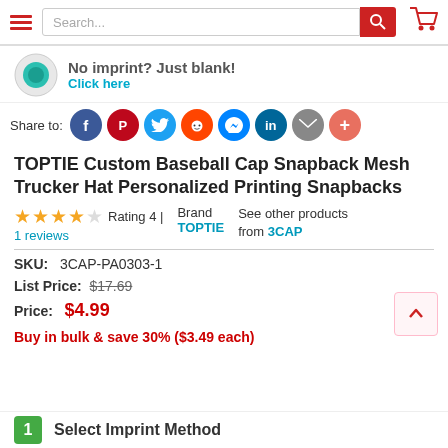[Figure (screenshot): E-commerce website navigation bar with hamburger menu, search box, and shopping cart icon]
[Figure (infographic): Promotional banner: No imprint? Just blank! Click here, with teal circle logo]
Share to: [Facebook, Pinterest, Twitter, Reddit, Messenger, LinkedIn, Email, More]
TOPTIE Custom Baseball Cap Snapback Mesh Trucker Hat Personalized Printing Snapbacks
★★★★☆ Rating 4 | 1 reviews    Brand TOPTIE    See other products from 3CAP
SKU: 3CAP-PA0303-1
List Price: $17.69
Price: $4.99
Buy in bulk & save 30% ($3.49 each)
1 Select Imprint Method